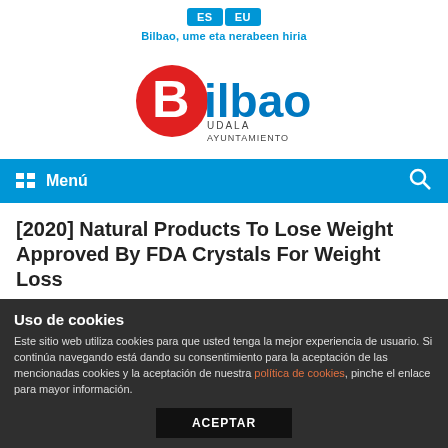ES | EU — Bilbao, ume eta nerabeen hiria
[Figure (logo): Bilbao Udala Ayuntamiento logo — red oval with white B, text 'ilbao' in blue, 'UDALA AYUNTAMIENTO' below]
Menú
[2020] Natural Products To Lose Weight Approved By FDA Crystals For Weight Loss
Uso de cookies
Este sitio web utiliza cookies para que usted tenga la mejor experiencia de usuario. Si continúa navegando está dando su consentimiento para la aceptación de las mencionadas cookies y la aceptación de nuestra política de cookies, pinche el enlace para mayor información.
ACEPTAR